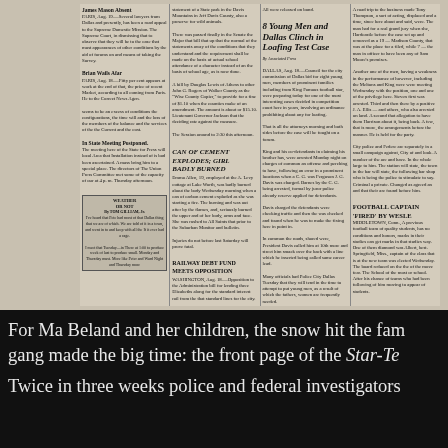[Figure (photo): Scanned newspaper page showing multiple columns with headlines including '8 Young Men and Dallas Clinch in Loafing Test Case', 'CAN OF CEMENT EXPLODES; GIRL BADLY BURNED', 'RAILWAY DEBT FUND MEETS OPPOSITION', 'FOOTBALL CAPTAIN FIRED BY WESLE', and a Weather or Not column. Black and white newsprint.]
For Ma Beland and her children, the snow hit the fam gang made the big time: the front page of the Star-Te
Twice in three weeks police and federal investigators